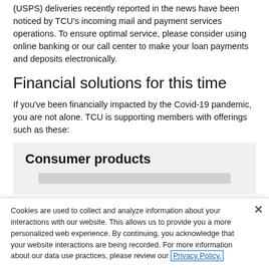(USPS) deliveries recently reported in the news have been noticed by TCU's incoming mail and payment services operations. To ensure optimal service, please consider using online banking or our call center to make your loan payments and deposits electronically.
Financial solutions for this time
If you've been financially impacted by the Covid-19 pandemic, you are not alone. TCU is supporting members with offerings such as these:
Consumer products
Cookies are used to collect and analyze information about your interactions with our website. This allows us to provide you a more personalized web experience. By continuing, you acknowledge that your website interactions are being recorded. For more information about our data use practices, please review our Privacy Policy.